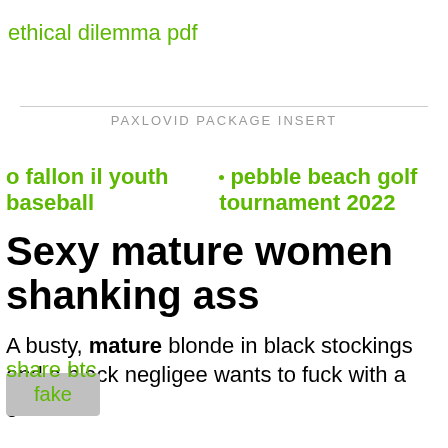ethical dilemma pdf
PAXLOVID PACKAGE INSERT
o fallon il youth baseball
pebble beach golf tournament 2022
Sexy mature women shanking ass
A busty, mature blonde in black stockings and a black negligee wants to fuck with a girlfriend,
share btc
fake